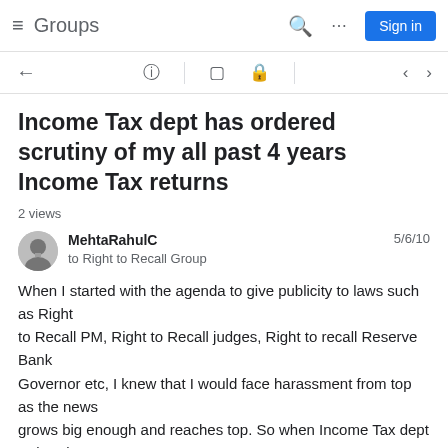≡ Groups  [search] [grid] Sign in
Income Tax dept has ordered scrutiny of my all past 4 years Income Tax returns
2 views
MehtaRahulC  5/6/10
to Right to Recall Group
When I started with the agenda to give publicity to laws such as Right
to Recall PM, Right to Recall judges, Right to recall Reserve Bank
Governor etc, I knew that I would face harassment from top as the news
grows big enough and reaches top. So when Income Tax dept ordered
scrutiny of my past 4 years Income Tax returns, the only thoughts that
came to me is : why so late?
And later I found that my scrutiny was not due to random...